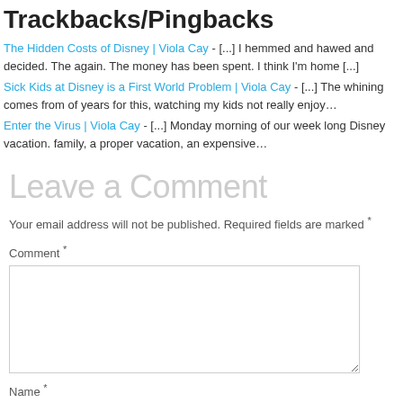Trackbacks/Pingbacks
The Hidden Costs of Disney | Viola Cay - [...] I hemmed and hawed and decided. The again. The money has been spent. I think I'm home [...]
Sick Kids at Disney is a First World Problem | Viola Cay - [...] The whining comes from of years for this, watching my kids not really enjoy…
Enter the Virus | Viola Cay - [...] Monday morning of our week long Disney vacation. family, a proper vacation, an expensive…
Leave a Comment
Your email address will not be published. Required fields are marked *
Comment *
Name *